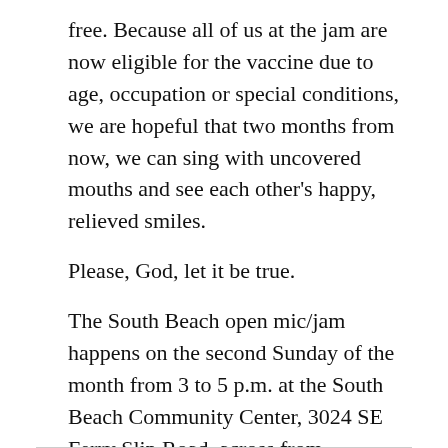free. Because all of us at the jam are now eligible for the vaccine due to age, occupation or special conditions, we are hopeful that two months from now, we can sing with uncovered mouths and see each other's happy, relieved smiles.
Please, God, let it be true.
The South Beach open mic/jam happens on the second Sunday of the month from 3 to 5 p.m. at the South Beach Community Center, 3024 SE Ferry Slip Road, across from Aquarium Village. Bring your ax and your mask and join us. Wear something warm.